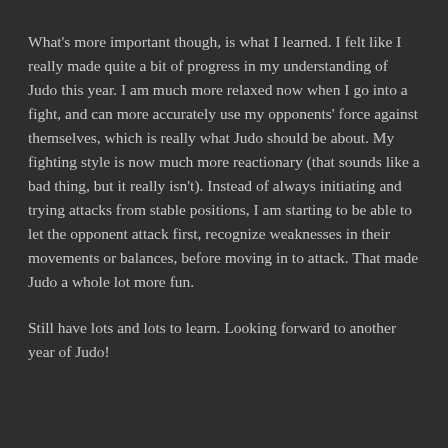What's more important though, is what I learned. I felt like I really made quite a bit of progress in my understanding of Judo this year. I am much more relaxed now when I go into a fight, and can more accurately use my opponents' force against themselves, which is really what Judo should be about. My fighting style is now much more reactionary (that sounds like a bad thing, but it really isn't). Instead of always initiating and trying attacks from stable positions, I am starting to be able to let the opponent attack first, recognize weaknesses in their movements or balances, before moving in to attack. That made Judo a whole lot more fun.
Still have lots and lots to learn. Looking forward to another year of Judo!